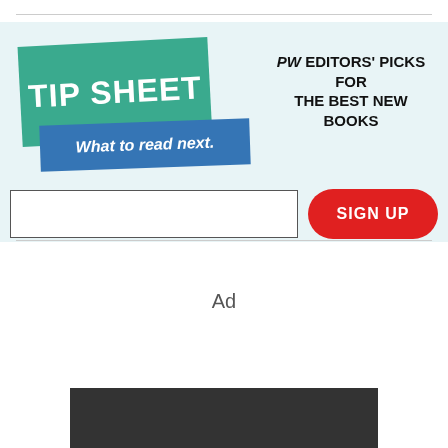[Figure (infographic): TIP SHEET banner with green and blue logo saying 'TIP SHEET What to read next.' on a light blue background, with text 'PW EDITORS' PICKS FOR THE BEST NEW BOOKS' on the right, an email input field, and a red SIGN UP button.]
Ad
[Figure (photo): Dark gray/black rectangular box at the bottom of the page, representing an advertisement slot.]